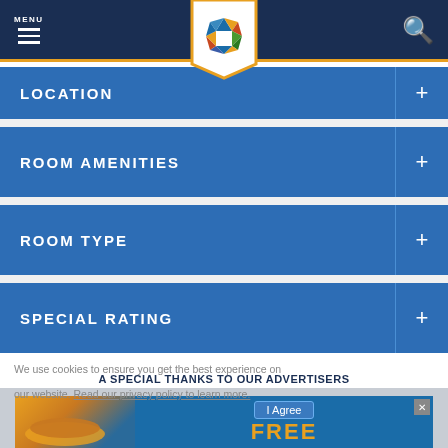MENU (navigation bar with logo and search icon)
LOCATION +
ROOM AMENITIES +
ROOM TYPE +
SPECIAL RATING +
We use cookies to ensure you get the best experience on our website. Read our privacy policy to learn more.
A SPECIAL THANKS TO OUR ADVERTISERS
[Figure (screenshot): Advertisement banner showing 'I Agree' button and 'FREE' text in orange on blue background]